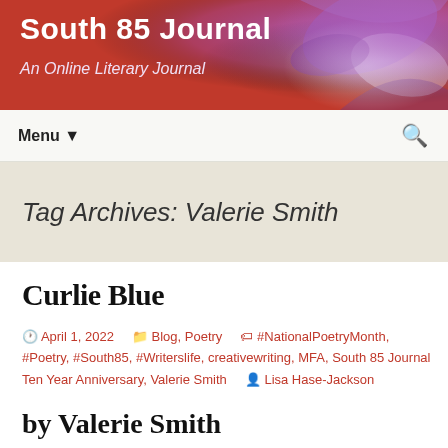South 85 Journal
An Online Literary Journal
Menu ▼
Tag Archives: Valerie Smith
Curlie Blue
April 1, 2022   Blog, Poetry   #NationalPoetryMonth, #Poetry, #South85, #Writerslife, creativewriting, MFA, South 85 Journal Ten Year Anniversary, Valerie Smith   Lisa Hase-Jackson
by Valerie Smith